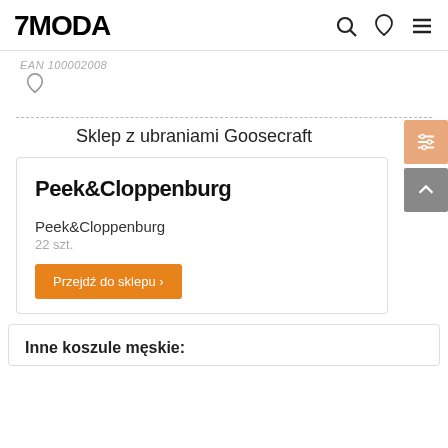7MODA
EAN 100002008
♡
Sklep z ubraniami Goosecraft
Peek&Cloppenburg
Peek&Cloppenburg
22 szt.
Przejdź do sklepu >
Inne koszule męskie: